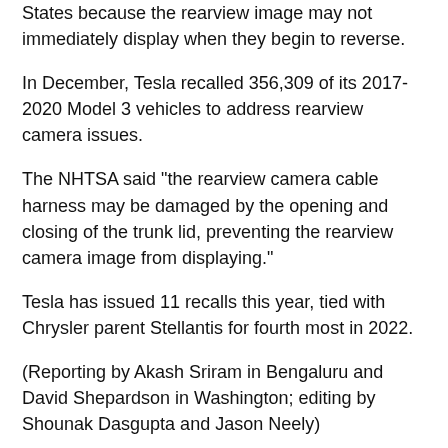States because the rearview image may not immediately display when they begin to reverse.
In December, Tesla recalled 356,309 of its 2017-2020 Model 3 vehicles to address rearview camera issues.
The NHTSA said "the rearview camera cable harness may be damaged by the opening and closing of the trunk lid, preventing the rearview camera image from displaying."
Tesla has issued 11 recalls this year, tied with Chrysler parent Stellantis for fourth most in 2022.
(Reporting by Akash Sriram in Bengaluru and David Shepardson in Washington; editing by Shounak Dasgupta and Jason Neely)